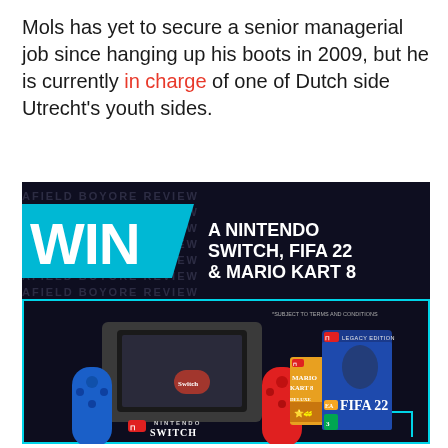Mols has yet to secure a senior managerial job since hanging up his boots in 2009, but he is currently in charge of one of Dutch side Utrecht's youth sides.
[Figure (infographic): Advertisement banner for a competition to win a Nintendo Switch, FIFA 22 and Mario Kart 8. Features 'WIN' text on cyan diagonal banner, prize text on dark background, and product images showing Nintendo Switch console with red/blue Joy-Cons, FIFA 22 Legacy Edition game case, and Mario Kart 8 Deluxe game case.]